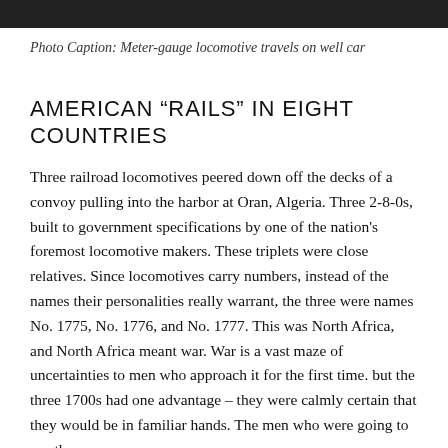[Figure (photo): Top portion of a black and white photograph showing the deck of a convoy ship with locomotives.]
Photo Caption: Meter-gauge locomotive travels on well car
AMERICAN “RAILS” IN EIGHT COUNTRIES
Three railroad locomotives peered down off the decks of a convoy pulling into the harbor at Oran, Algeria. Three 2-8-0s, built to government specifications by one of the nation's foremost locomotive makers. These triplets were close relatives. Since locomotives carry numbers, instead of the names their personalities really warrant, the three were names No. 1775, No. 1776, and No. 1777. This was North Africa, and North Africa meant war. War is a vast maze of uncertainties to men who approach it for the first time. but the three 1700s had one advantage – they were calmly certain that they would be in familiar hands. The men who were going to run them across